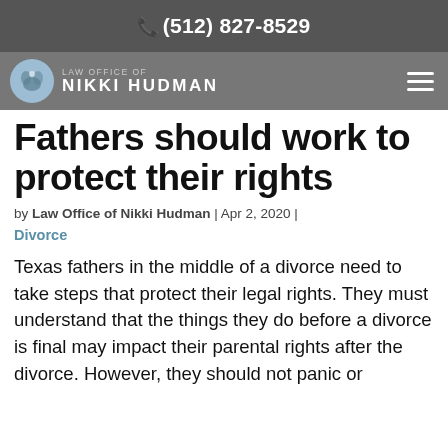(512) 827-8529
[Figure (logo): Law Office of Nikki Hudman logo with navigation bar]
Fathers should work to protect their rights
by Law Office of Nikki Hudman | Apr 2, 2020 | Divorce
Texas fathers in the middle of a divorce need to take steps that protect their legal rights. They must understand that the things they do before a divorce is final may impact their parental rights after the divorce. However, they should not panic or